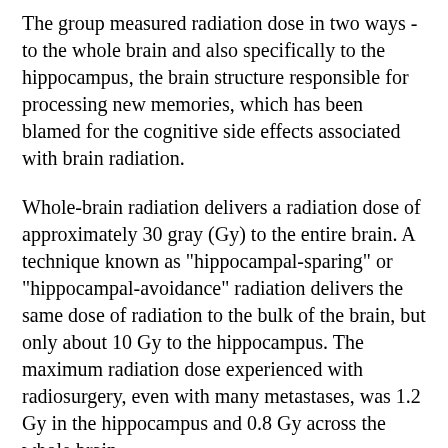The group measured radiation dose in two ways - to the whole brain and also specifically to the hippocampus, the brain structure responsible for processing new memories, which has been blamed for the cognitive side effects associated with brain radiation.
Whole-brain radiation delivers a radiation dose of approximately 30 gray (Gy) to the entire brain. A technique known as "hippocampal-sparing" or "hippocampal-avoidance" radiation delivers the same dose of radiation to the bulk of the brain, but only about 10 Gy to the hippocampus. The maximum radiation dose experienced with radiosurgery, even with many metastases, was 1.2 Gy in the hippocampus and 0.8 Gy across the whole brain.
"The very low doses of radiation to the normal brain observed with radiosurgery compared to whole-brain radiation has the potential to dramatically alter the risk of cognitive side effects," says Rusthoven. "As the field of